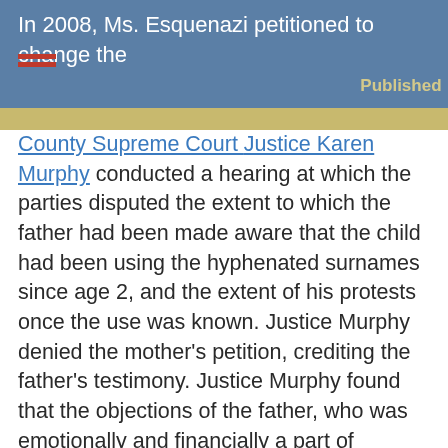In 2008, Ms. Esquenazi petitioned to change the child's surname to Esquenazi-Erberhardt. Nassau County Supreme Court Justice Karen Murphy conducted a hearing at which the parties disputed the extent to which the father had been made aware that the child had been using the hyphenated surnames since age 2, and the extent of his protests once the use was known. Justice Murphy denied the mother's petition, crediting the father's testimony. Justice Murphy found that the objections of the father, who was emotionally and financially a part of Mariah's life, were reasonable. The name change, Justice Murphy ruled, benefited the mother, not the child. To rule otherwise would reward the mother for her self-help and her knowing violation of the proper procedures for a name change under Civil Rights Law §§60 through
Published By: Neil Cahn, PLLC